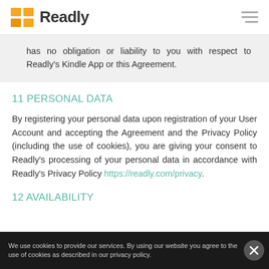Readly
has no obligation or liability to you with respect to Readly's Kindle App or this Agreement.
11 PERSONAL DATA
By registering your personal data upon registration of your User Account and accepting the Agreement and the Privacy Policy (including the use of cookies), you are giving your consent to Readly's processing of your personal data in accordance with Readly's Privacy Policy https://readly.com/privacy.
12 AVAILABILITY
We use cookies to provide our services. By using our website you agree to the use of cookies as described in our privacy policy.